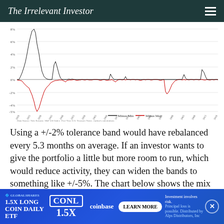The Irrelevant Investor
[Figure (continuous-plot): Time series line chart showing 'Minus Min' (black) and 'Minus Max' (red) percentage values over time from roughly 1928 to present. The y-axis ranges from about -5% to 8%. Black line shows large positive spikes (up to ~8%) especially in early periods; red line shows negative troughs (down to about -4.5%). Data Source: Yale Returns, S&P 500 Index, Five-Year U.S. Treasury Notes, Author's calculations.]
Using a +/-2% tolerance band would have rebalanced every 5.3 months on average. If an investor wants to give the portfolio a little but more room to run, which would reduce activity, they can widen the bands to something like +/-5%. The chart below shows the mix of stocks and bo...ds.